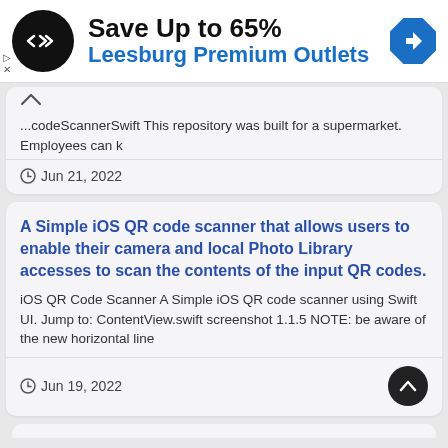[Figure (screenshot): Advertisement banner: black circular logo with two overlapping arrows, 'Save Up to 65%' in bold black text, 'Leesburg Premium Outlets' in blue bold text, blue diamond-shaped arrow icon on the right, small play and X controls on the left margin]
...codeScannerSwift This repository was built for a supermarket. Employees can k
Jun 21, 2022
A Simple iOS QR code scanner that allows users to enable their camera and local Photo Library accesses to scan the contents of the input QR codes.
iOS QR Code Scanner A Simple iOS QR code scanner using Swift UI. Jump to: ContentView.swift screenshot 1.1.5 NOTE: be aware of the new horizontal line
Jun 19, 2022